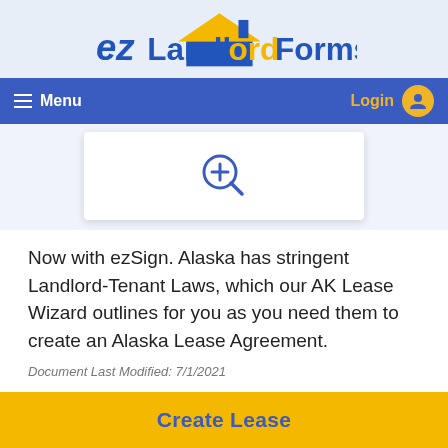[Figure (logo): ezLandlordForms logo with house icon in blue and yellow]
Menu   Login
[Figure (screenshot): Document preview card with magnifying glass zoom icon]
Now with ezSign. Alaska has stringent Landlord-Tenant Laws, which our AK Lease Wizard outlines for you as you need them to create an Alaska Lease Agreement.
Document Last Modified: 7/1/2021
Document Features
Create Lease